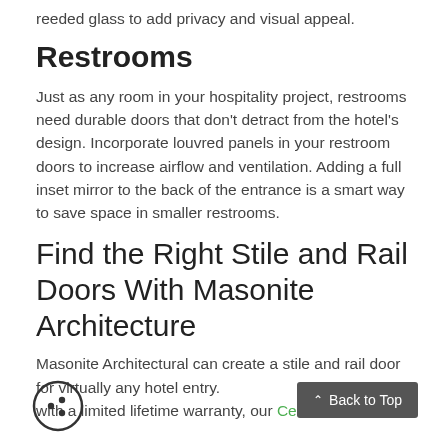reeded glass to add privacy and visual appeal.
Restrooms
Just as any room in your hospitality project, restrooms need durable doors that don't detract from the hotel's design. Incorporate louvred panels in your restroom doors to increase airflow and ventilation. Adding a full inset mirror to the back of the entrance is a smart way to save space in smaller restrooms.
Find the Right Stile and Rail Doors With Masonite Architecture
Masonite Architectural can create a stile and rail door for virtually any hotel entry. with a limited lifetime warranty, our Cendura